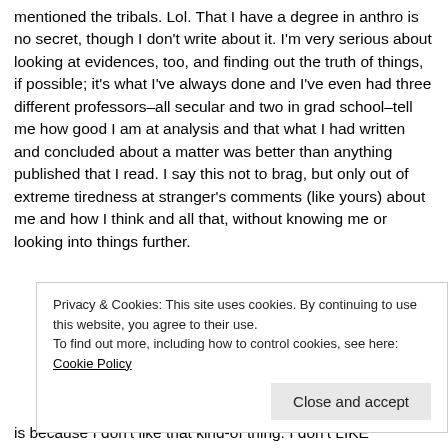mentioned the tribals. Lol. That I have a degree in anthro is no secret, though I don't write about it. I'm very serious about looking at evidences, too, and finding out the truth of things, if possible; it's what I've always done and I've even had three different professors–all secular and two in grad school–tell me how good I am at analysis and that what I had written and concluded about a matter was better than anything published that I read. I say this not to brag, but only out of extreme tiredness at stranger's comments (like yours) about me and how I think and all that, without knowing me or looking into things further.
Privacy & Cookies: This site uses cookies. By continuing to use this website, you agree to their use.
To find out more, including how to control cookies, see here: Cookie Policy
is because I don't like that kind-of thing. I don't LIKE